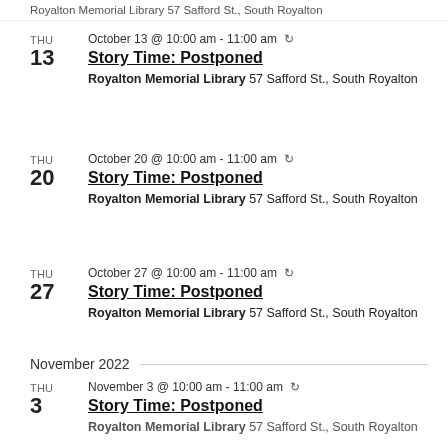Royalton Memorial Library 57 Safford St., South Royalton
THU 13 | October 13 @ 10:00 am - 11:00 am | Story Time: Postponed | Royalton Memorial Library 57 Safford St., South Royalton
THU 20 | October 20 @ 10:00 am - 11:00 am | Story Time: Postponed | Royalton Memorial Library 57 Safford St., South Royalton
THU 27 | October 27 @ 10:00 am - 11:00 am | Story Time: Postponed | Royalton Memorial Library 57 Safford St., South Royalton
November 2022
THU 3 | November 3 @ 10:00 am - 11:00 am | Story Time: Postponed | Royalton Memorial Library 57 Safford St., South Royalton